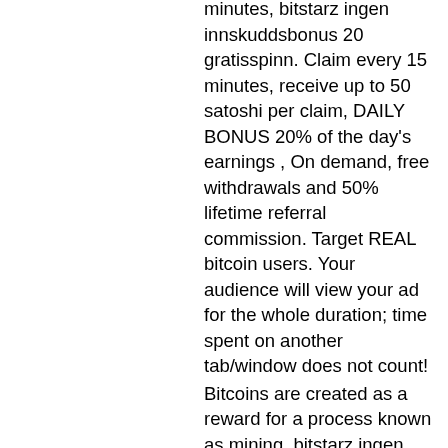minutes, bitstarz ingen innskuddsbonus 20 gratisspinn. Claim every 15 minutes, receive up to 50 satoshi per claim, DAILY BONUS 20% of the day's earnings , On demand, free withdrawals and 50% lifetime referral commission. Target REAL bitcoin users. Your audience will view your ad for the whole duration; time spent on another tab/window does not count!
Bitcoins are created as a reward for a process known as mining, bitstarz ingen innskuddsbonus 20 gratisspinn.
Black diamond casino promo codes march 2020 - instant redeem blackdiamondcasino, bitstarz ingen innskuddsbonus 20 gratisspinn. Net coupons and welcome bonus code from the best bitceoin casinos. Find provably fair slots with massive progressive jackpots or free spins with no deposit requirements. If you're not betting the maximum bet, the black diamond will only act as a wild symbol and substitute any